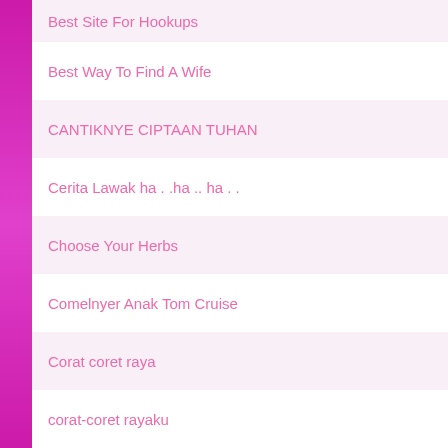Best Site For Hookups
Best Way To Find A Wife
CANTIKNYE CIPTAAN TUHAN
Cerita Lawak ha . .ha .. ha . .
Choose Your Herbs
Comelnyer Anak Tom Cruise
Corat coret raya
corat-coret rayaku
Dating A Russian Girl
David Beckham Kantoi